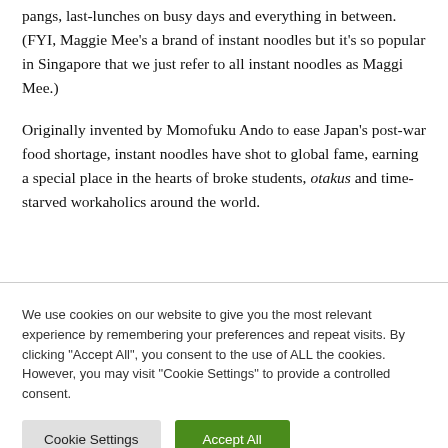pangs, last-lunches on busy days and everything in between. (FYI, Maggie Mee's a brand of instant noodles but it's so popular in Singapore that we just refer to all instant noodles as Maggi Mee.)
Originally invented by Momofuku Ando to ease Japan's post-war food shortage, instant noodles have shot to global fame, earning a special place in the hearts of broke students, otakus and time-starved workaholics around the world.
We use cookies on our website to give you the most relevant experience by remembering your preferences and repeat visits. By clicking "Accept All", you consent to the use of ALL the cookies. However, you may visit "Cookie Settings" to provide a controlled consent.
Cookie Settings | Accept All